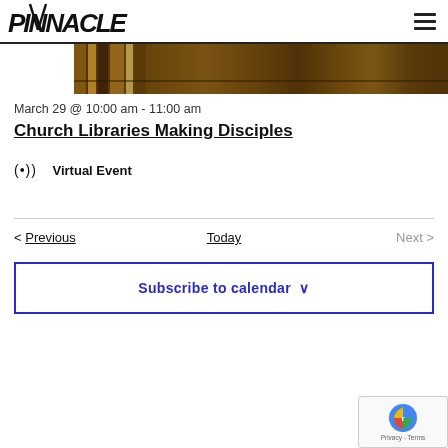[Figure (photo): Top strip of a library bookshelf photo banner]
[Figure (logo): Pinnacle church logo with stylized hand-drawn text and mountain peak graphic]
[Figure (photo): Library bookshelf photo, warm tones of book spines]
March 29 @ 10:00 am - 11:00 am
Church Libraries Making Disciples
(•)) Virtual Event
< Previous
Today
Next >
Subscribe to calendar ˅